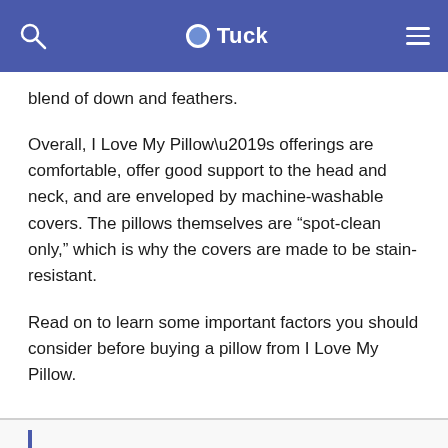Tuck
blend of down and feathers.
Overall, I Love My Pillow’s offerings are comfortable, offer good support to the head and neck, and are enveloped by machine-washable covers. The pillows themselves are “spot-clean only,” which is why the covers are made to be stain-resistant.
Read on to learn some important factors you should consider before buying a pillow from I Love My Pillow.
General Overview